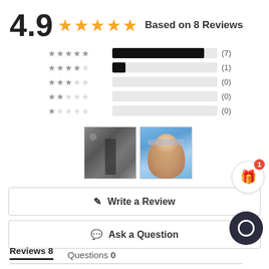4.9 ★★★★★ Based on 8 Reviews
[Figure (bar-chart): Star rating distribution]
[Figure (photo): Two user review photos: one showing a product (dark/grey object), one showing a woman with glasses outdoors]
✎ Write a Review
💬 Ask a Question
Reviews 8    Questions 0